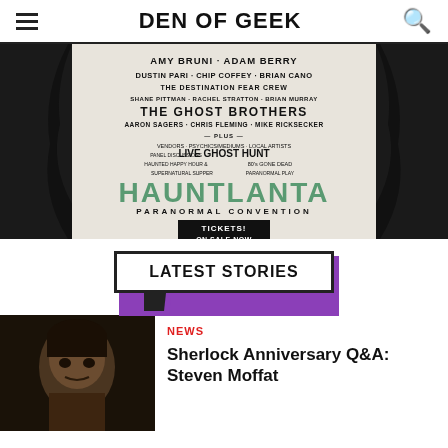DEN OF GEEK
[Figure (photo): Hauntlanta Paranormal Convention promotional poster/flyer showing event details including Amy Bruni, Adam Berry, Dustin Pari, Chip Coffey, Brian Cano, The Destination Fear Crew, Shane Pittman, Rachel Stratton, Brian Murray, The Ghost Brothers, Aaron Sagers, Chris Fleming, Mike Ricksecker, Live Ghost Hunt, Tickets On Sale Now, www.hauntlanta.com]
LATEST STORIES
NEWS
Sherlock Anniversary Q&A: Steven Moffat